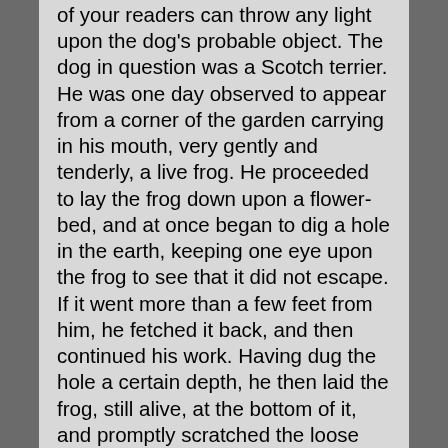of your readers can throw any light upon the dog's probable object. The dog in question was a Scotch terrier. He was one day observed to appear from a corner of the garden carrying in his mouth, very gently and tenderly, a live frog. He proceeded to lay the frog down upon a flower-bed, and at once began to dig a hole in the earth, keeping one eye upon the frog to see that it did not escape. If it went more than a few feet from him, he fetched it back, and then continued his work. Having dug the hole a certain depth, he then laid the frog, still alive, at the bottom of it, and promptly scratched the loose earth back into the hole, and friend froggy was buried alive! The dog then went off to the corner of the garden, and returned with another frog, which he treated in the same way. This occurred on more than one occasion; in fact, as often as he could find frogs he occupied himself in burying them alive. Now dogs generally have some reason for what they do. What can have been a dog's reason for burying frogs alive? It does not appear that he ever dug them up again to